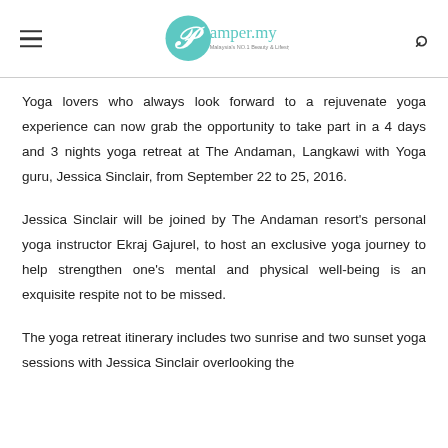Pamper.my — Malaysia's NO.1 Beauty & Lifestyle Website
Yoga lovers who always look forward to a rejuvenate yoga experience can now grab the opportunity to take part in a 4 days and 3 nights yoga retreat at The Andaman, Langkawi with Yoga guru, Jessica Sinclair, from September 22 to 25, 2016.
Jessica Sinclair will be joined by The Andaman resort's personal yoga instructor Ekraj Gajurel, to host an exclusive yoga journey to help strengthen one's mental and physical well-being is an exquisite respite not to be missed.
The yoga retreat itinerary includes two sunrise and two sunset yoga sessions with Jessica Sinclair overlooking the